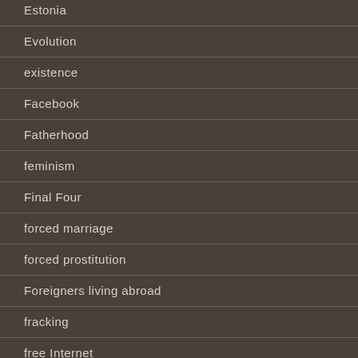Estonia
Evolution
existence
Facebook
Fatherhood
feminism
Final Four
forced marriage
forced prostitution
Foreigners living abroad
fracking
free Internet
Friends